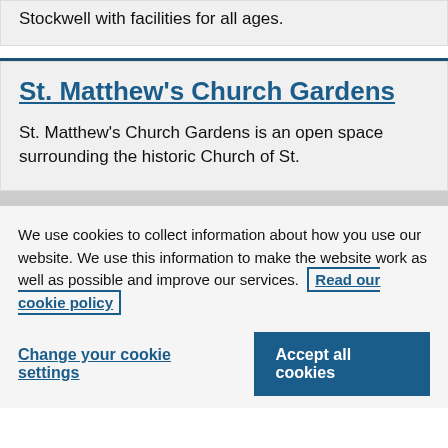Stockwell with facilities for all ages.
St. Matthew's Church Gardens
St. Matthew's Church Gardens is an open space surrounding the historic Church of St.
We use cookies to collect information about how you use our website. We use this information to make the website work as well as possible and improve our services.
Read our cookie policy
Change your cookie settings
Accept all cookies